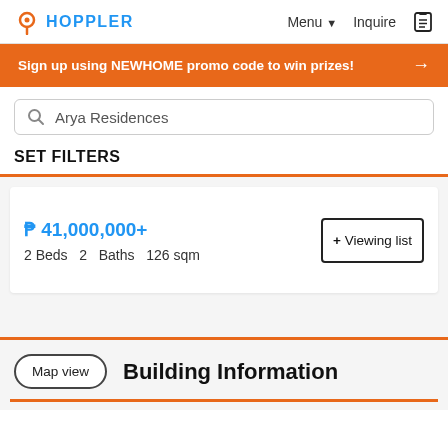HOPPLER — Menu ▾  Inquire
Sign up using NEWHOME promo code to win prizes! →
Arya Residences
SET FILTERS
₱ 41,000,000+
2 Beds  2  Baths  126 sqm
+ Viewing list
Building Information
Map view